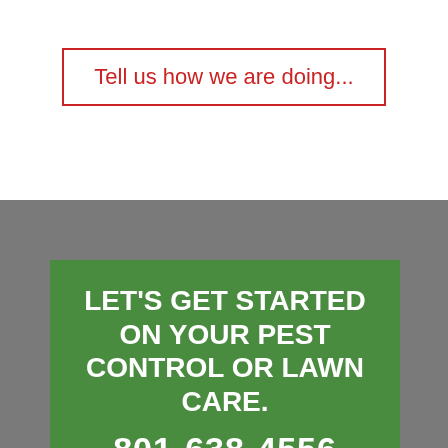Tell us how we are doing...
LET'S GET STARTED ON YOUR PEST CONTROL OR LAWN CARE.
801-638-4556